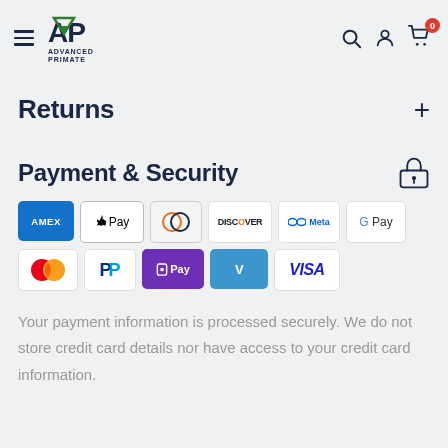Advanced Primate — navigation header with logo, search, account, cart (0)
Returns
Payment & Security
[Figure (infographic): Payment method logos: AMEX, Apple Pay, Diners Club, Discover, Meta Pay, Google Pay, Mastercard, PayPal, OPay, Venmo, Visa]
Your payment information is processed securely. We do not store credit card details nor have access to your credit card information.